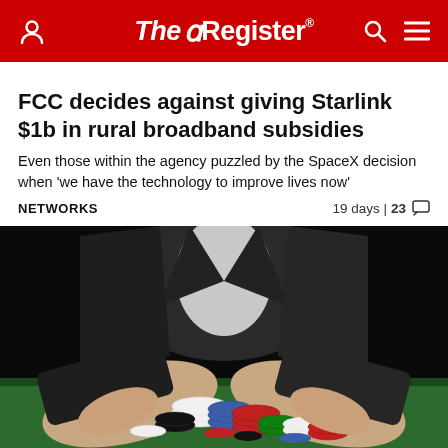The Register
FCC decides against giving Starlink $1b in rural broadband subsidies
Even those within the agency puzzled by the SpaceX decision when 'we have the technology to improve lives now'
NETWORKS   19 days | 23 comments
[Figure (photo): Person in suit with hands sweeping toward a large pile of casino poker chips on a green felt table]